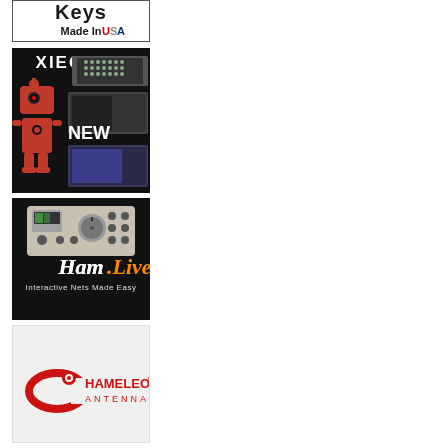[Figure (illustration): Keys Made In USA advertisement banner with bold text 'Keys' at top and 'Made In USA' text where U is red, S is white/grey, A is blue, on white background with black border]
[Figure (illustration): Xiegu radio advertisement showing 'XIEGU' brand name in white on black background with radio equipment images and a robot mascot character labeled 'NEW']
[Figure (illustration): Ham.Live advertisement on black background showing a radio equipment panel illustration and text 'Ham.Live' in white/orange with tagline 'Interactive Nets Made Easy']
[Figure (illustration): Chameleon Antenna advertisement on light grey/white background featuring the Chameleon Antenna logo in red with stylized chameleon graphic]